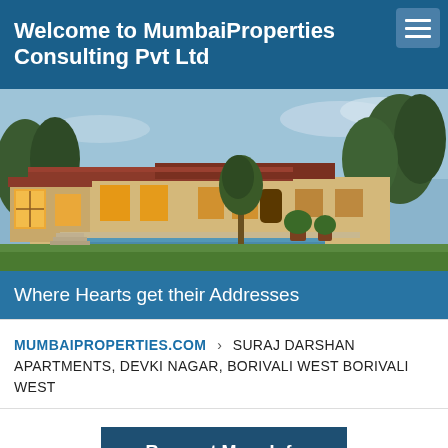Welcome to MumbaiProperties Consulting Pvt Ltd
[Figure (photo): Exterior photo of a luxury Spanish-style villa with pool, green lawn, terracotta roof, and trees in background at dusk]
Where Hearts get their Addresses
MUMBAIPROPERTIES.COM › SURAJ DARSHAN APARTMENTS, DEVKI NAGAR, BORIVALI WEST BORIVALI WEST
Request More Info